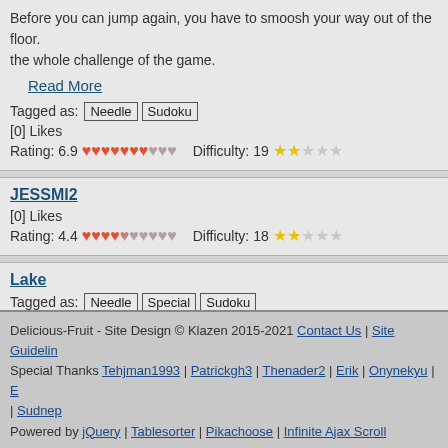Before you can jump again, you have to smoosh your way out of the floor. the whole challenge of the game.
Read More
Tagged as: Needle Sudoku
[0] Likes
Rating: 6.9 ❤❤❤❤❤❤❤♡♡♡  Difficulty: 19 ★★☆☆☆
JESSMI2
[0] Likes
Rating: 4.4 ❤❤❤❤❤♡♡♡♡♡  Difficulty: 18 ★★☆☆☆
Lake
Tagged as: Needle Special Sudoku
[0] Likes
Rating: 8.0 ❤❤❤❤❤❤❤❤♡♡  Difficulty: 20 ★★☆☆☆
Delicious-Fruit - Site Design © Klazen 2015-2021 Contact Us | Site Guidelines Special Thanks Tehjman1993 | Patrickgh3 | Thenader2 | Erik | Onynekyu | E | Sudnep Powered by jQuery | Tablesorter | Pikachoose | Infinite Ajax Scroll